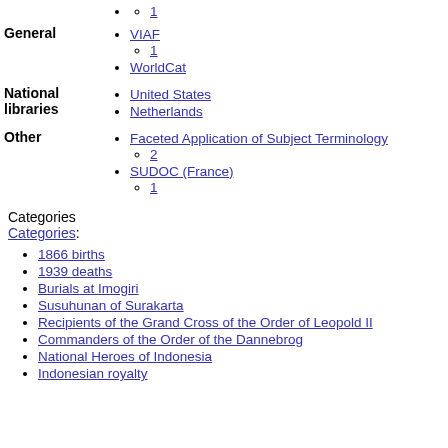1
VIAF
1
WorldCat
United States
Netherlands
Faceted Application of Subject Terminology
2
SUDOC (France)
1
Categories
Categories:
1866 births
1939 deaths
Burials at Imogiri
Susuhunan of Surakarta
Recipients of the Grand Cross of the Order of Leopold II
Commanders of the Order of the Dannebrog
National Heroes of Indonesia
Indonesian royalty